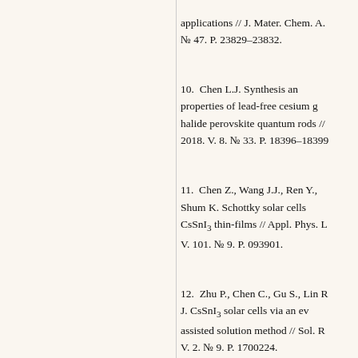applications // J. Mater. Chem. A. № 47. P. 23829–23832.
10.  Chen L.J. Synthesis and properties of lead-free cesium gold halide perovskite quantum rods // 2018. V. 8. № 33. P. 18396–18399.
11.  Chen Z., Wang J.J., Ren Y., Shum K. Schottky solar cells based on CsSnI₃ thin-films // Appl. Phys. Lett. V. 101. № 9. P. 093901.
12.  Zhu P., Chen C., Gu S., Lin R., J. CsSnI₃ solar cells via an evaporation-assisted solution method // Sol. Rapid Commun. V. 2. № 9. P. 1700224.
13.  Song T.-B., Yokoyama T., Wasielewski M.R., Aramaki Kanatzidis M.G. Piperazine suppression...